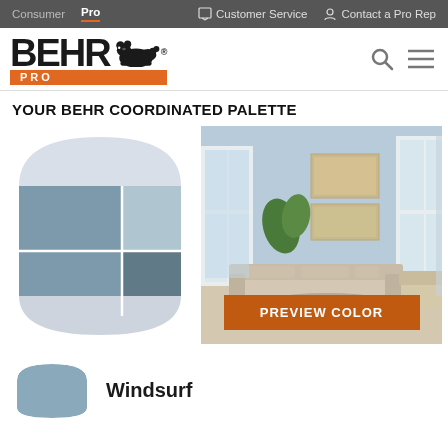Consumer | Pro | Customer Service | Contact a Pro Rep
[Figure (logo): BEHR PRO logo with bear icon]
YOUR BEHR COORDINATED PALETTE
[Figure (illustration): Color palette swatch showing three coordinated blues/grays in an arch shape]
[Figure (photo): Room preview photo showing a living room with light blue walls, sofa, and windows with an orange PREVIEW COLOR button overlay]
Windsurf